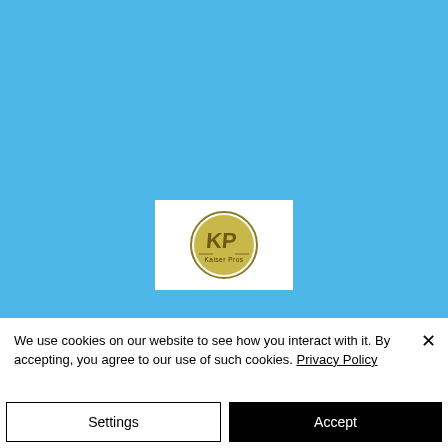[Figure (logo): KaiserPros circular gold logo on white rectangular background, centered on a blue background]
We use cookies on our website to see how you interact with it. By accepting, you agree to our use of such cookies. Privacy Policy
Settings
Accept